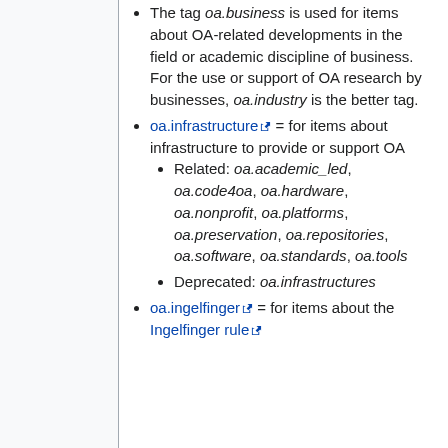The tag oa.business is used for items about OA-related developments in the field or academic discipline of business. For the use or support of OA research by businesses, oa.industry is the better tag.
oa.infrastructure = for items about infrastructure to provide or support OA
Related: oa.academic_led, oa.code4oa, oa.hardware, oa.nonprofit, oa.platforms, oa.preservation, oa.repositories, oa.software, oa.standards, oa.tools
Deprecated: oa.infrastructures
oa.ingelfinger = for items about the Ingelfinger rule